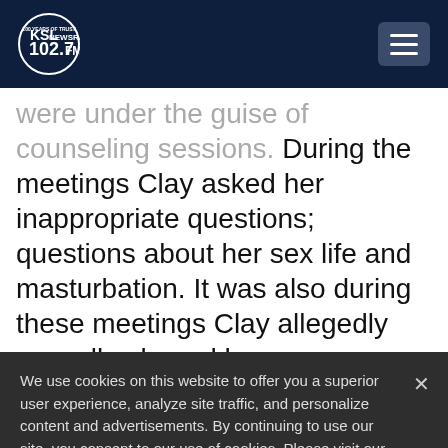KSL NewsRadio 102.7FM
were under the guise of counseling sessions. During the meetings Clay asked her inappropriate questions; questions about her sex life and masturbation. It was also during these meetings Clay allegedly sexually abused her.
We use cookies on this website to offer you a superior user experience, analyze site traffic, and personalize content and advertisements. By continuing to use our site, you consent to our use of cookies. Please visit our Privacy Policy for more information.
Accept Cookies